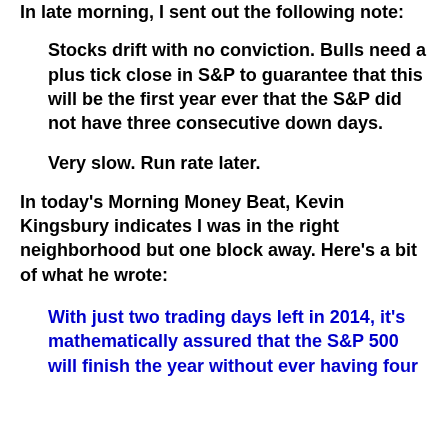In late morning, I sent out the following note:
Stocks drift with no conviction.  Bulls need a plus tick close in S&P to guarantee that this will be the first year ever that the S&P did not have three consecutive down days.
Very slow.  Run rate later.
In today's Morning Money Beat, Kevin Kingsbury indicates I was in the right neighborhood but one block away.  Here's a bit of what he wrote:
With just two trading days left in 2014, it's mathematically assured that the S&P 500 will finish the year without ever having four